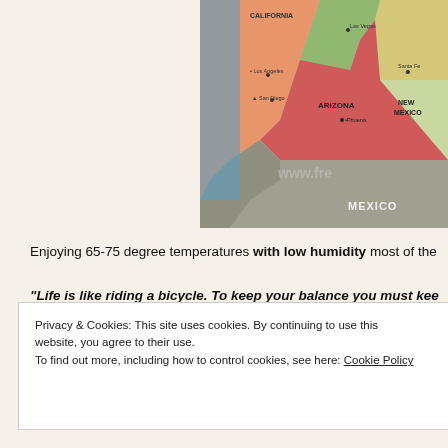[Figure (map): Map of the southwestern United States and northern Mexico, showing California (with Los Angeles, San Diego, Las Vegas marked), Arizona (with Phoenix), New Mexico (with Santa Fe), and Mexico. States shown in different colors. Watermark www.fre... visible.]
Enjoying 65-75 degree temperatures with low humidity most of the
“Life is like riding a bicycle. To keep your balance you must kee
[Figure (photo): Partial photo with golden/yellow tones and large letter N visible on right side]
Privacy & Cookies: This site uses cookies. By continuing to use this website, you agree to their use.
To find out more, including how to control cookies, see here: Cookie Policy
Close and accept